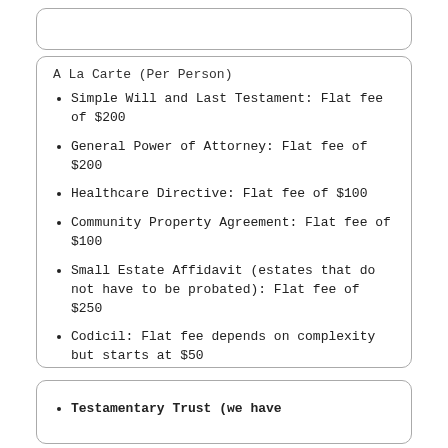A La Carte (Per Person)
Simple Will and Last Testament: Flat fee of $200
General Power of Attorney: Flat fee of $200
Healthcare Directive: Flat fee of $100
Community Property Agreement: Flat fee of $100
Small Estate Affidavit (estates that do not have to be probated): Flat fee of $250
Codicil: Flat fee depends on complexity but starts at $50
Testamentary Trust (we have